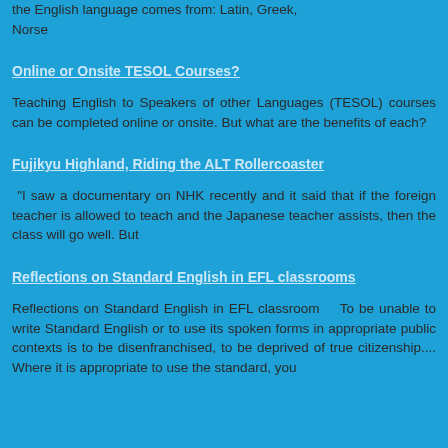the English language comes from: Latin, Greek, Norse
Online or Onsite TESOL Courses?
Teaching English to Speakers of other Languages (TESOL) courses can be completed online or onsite. But what are the benefits of each?
Fujikyu Highland, Riding the ALT Rollercoaster
“I saw a documentary on NHK recently and it said that if the foreign teacher is allowed to teach and the Japanese teacher assists, then the class will go well. But
Reflections on Standard English in EFL classrooms
Reflections on Standard English in EFL classroom    To be unable to write Standard English or to use its spoken forms in appropriate public contexts is to be disenfranchised, to be deprived of true citizenship.... Where it is appropriate to use the standard, you